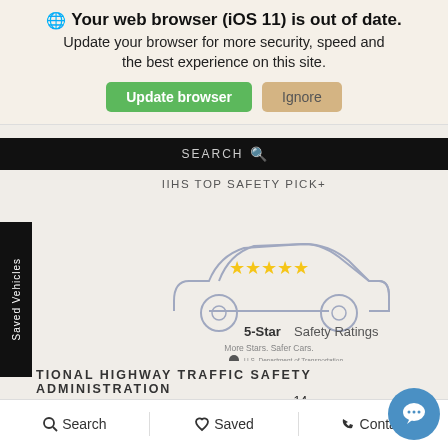Your web browser (iOS 11) is out of date. Update your browser for more security, speed and the best experience on this site.
Update browser | Ignore
SEARCH
IIHS TOP SAFETY PICK+
[Figure (illustration): Car outline with 5 gold stars above it. Text: 5-Star Safety Ratings. More Stars. Safer Cars. US Department of Transportation logo.]
Saved Vehicles
TIONAL HIGHWAY TRAFFIC SAFETY ADMINISTRATION
5-Star Overall Safety Rating14 for 2020 CX-9
Search  Saved  Contact